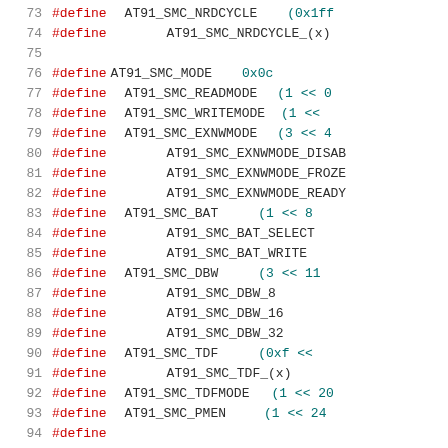[Figure (screenshot): Source code listing showing C preprocessor #define directives for AT91 SMC (Static Memory Controller) register definitions, lines 73-93+. Keywords in red, identifiers in dark, hex values in teal.]